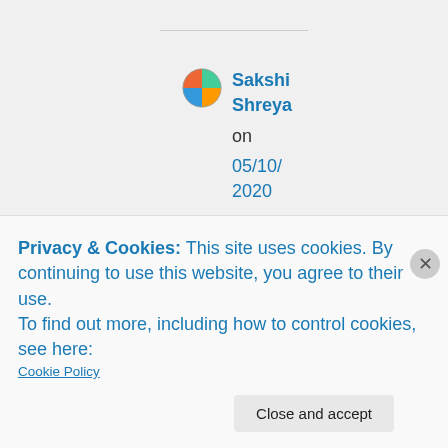[Figure (illustration): Circular avatar icon with colorful image for user Sakshi Shreya]
Sakshi Shreya on 05/10/2020 at 06:20
👍 0 👎
0
Privacy & Cookies: This site uses cookies. By continuing to use this website, you agree to their use.
To find out more, including how to control cookies, see here: Cookie Policy
Close and accept